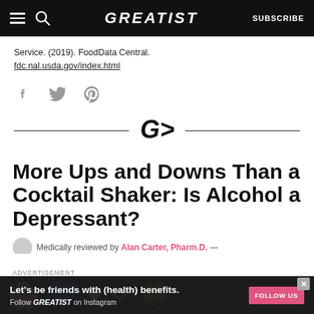GREATIST | SUBSCRIBE
Service. (2019). FoodData Central. fdc.nal.usda.gov/index.html
[Figure (other): Social share icons: Facebook, Twitter, Pinterest]
[Figure (logo): Greatist divider logo with horizontal rules on either side]
More Ups and Downs Than a Cocktail Shaker: Is Alcohol a Depressant?
Medically reviewed by Alan Carter, Pharm.D. —
[Figure (other): Advertisement banner: Let's be friends with (health) benefits. Follow GREATIST on Instagram. FOLLOW US button.]